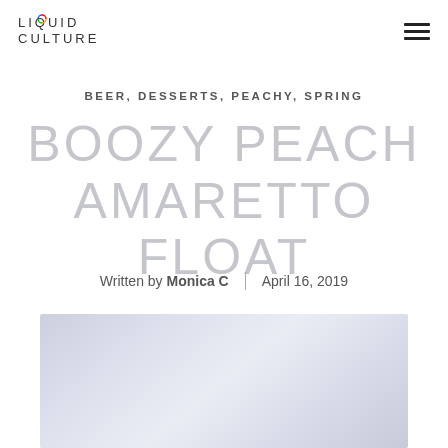LIQUID CULTURE
BEER, DESSERTS, PEACHY, SPRING
BOOZY PEACH AMARETTO FLOAT
Written by Monica C | April 16, 2019
[Figure (photo): Hero image placeholder with light blue-grey gradient background]